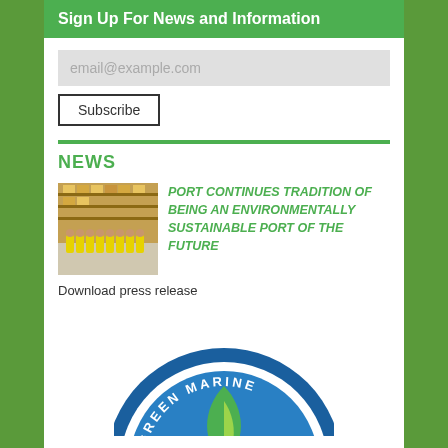Sign Up For News and Information
email@example.com
Subscribe
NEWS
[Figure (photo): Group of people in yellow safety vests standing in a warehouse with stacked goods]
PORT CONTINUES TRADITION OF BEING AN ENVIRONMENTALLY SUSTAINABLE PORT OF THE FUTURE
Download press release
[Figure (logo): Green Marine certified logo - circular badge with blue and green colors showing GREEN MARINE text]